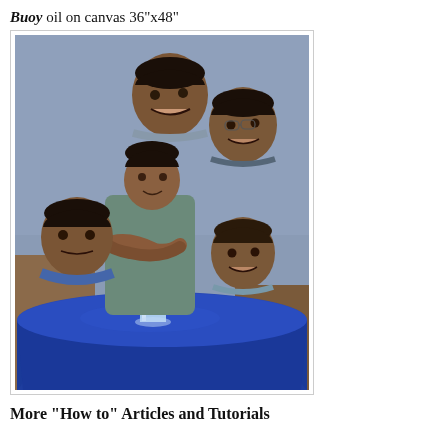Buoy oil on canvas 36"x48"
[Figure (illustration): Oil painting titled 'Buoy' showing five portrait views of a Black man arranged around a central full-body figure standing at a blue cloth-covered table with a glass of water. The man is depicted in multiple poses: laughing at top center, looking down at right center, smiling at far right, smiling at lower right, and standing with arms crossed at center looking down at the glass.]
More "How to" Articles and Tutorials